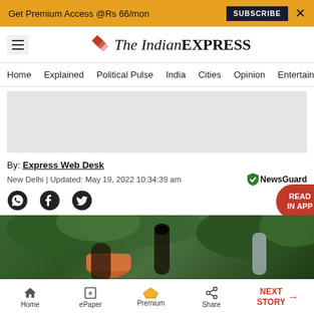Get Premium Access @Rs 66/mon  SUBSCRIBE  X
The Indian EXPRESS
Home  Explained  Political Pulse  India  Cities  Opinion  Entertainment
[Figure (other): Gray advertisement placeholder block]
By: Express Web Desk
New Delhi | Updated: May 19, 2022 10:34:39 am
[Figure (photo): Outdoor scene with workers handling orange gas cylinders, trees in background, person wearing mask]
Home  ePaper  Premium  Share  NEXT STORY →